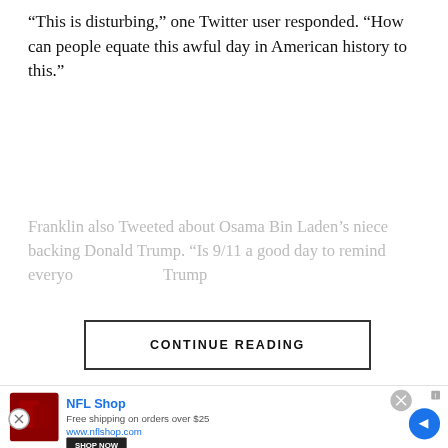“This is disturbing,” one Twitter user responded. “How can people equate this awful day in American history to this.”
Franklin also Tweeted about Osama Bin Laden’s niece backing Donald Trump. “Is 9/11 a good day to remind everyone… Trump
CONTINUE READING
ADVERTISEMENT
[Figure (photo): Ad for The Jason Barrett Podcast featuring Paul Finebaum Knows The Power]
[Figure (photo): NFL Shop advertisement with red product image, NFL Shop name, Free shipping on orders over $25, www.nflshop.com, SHOP NOW button]